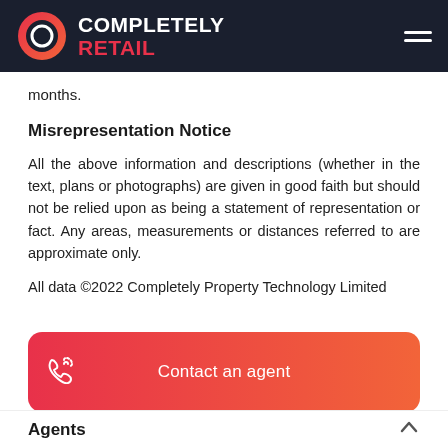COMPLETELY RETAIL
months.
Misrepresentation Notice
All the above information and descriptions (whether in the text, plans or photographs) are given in good faith but should not be relied upon as being a statement of representation or fact. Any areas, measurements or distances referred to are approximate only.
All data ©2022 Completely Property Technology Limited
Contact an agent
Agents